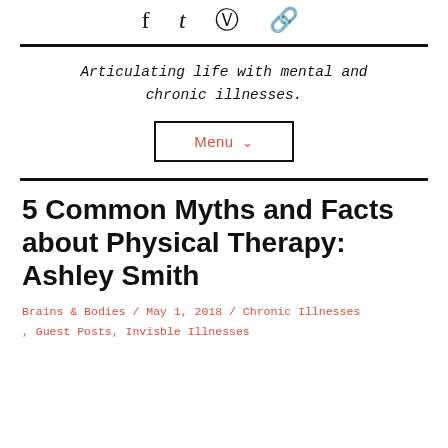[Figure (other): Social media icons: Facebook, Twitter, Instagram, and a chain/link icon]
Articulating life with mental and chronic illnesses.
Menu ∨
5 Common Myths and Facts about Physical Therapy: Ashley Smith
Brains & Bodies / May 1, 2018 / Chronic Illnesses , Guest Posts, Invisble Illnesses